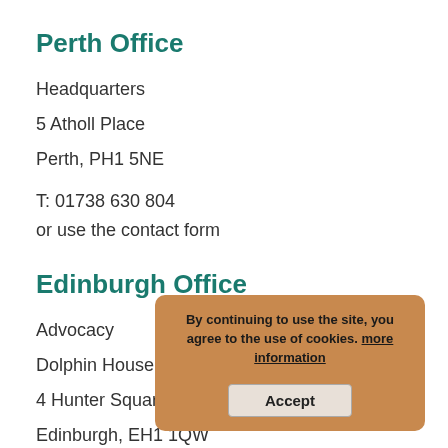Perth Office
Headquarters
5 Atholl Place
Perth, PH1 5NE
T: 01738 630 804
or use the contact form
Edinburgh Office
Advocacy
Dolphin House
4 Hunter Square
Edinburgh, EH1 1QW
By continuing to use the site, you agree to the use of cookies. more information
Accept